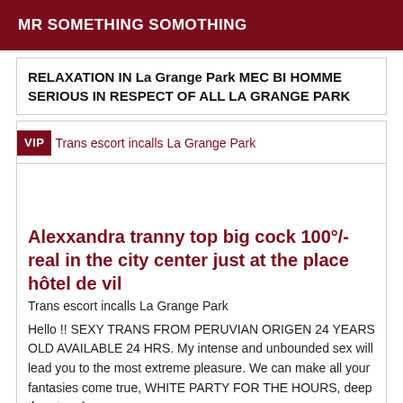MR SOMETHING SOMOTHING
RELAXATION IN La Grange Park MEC BI HOMME SERIOUS IN RESPECT OF ALL LA GRANGE PARK
VIP Trans escort incalls La Grange Park
Alexxandra tranny top big cock 100°/- real in the city center just at the place hôtel de vil
Trans escort incalls La Grange Park
Hello !! SEXY TRANS FROM PERUVIAN ORIGEN 24 YEARS OLD AVAILABLE 24 HRS. My intense and unbounded sex will lead you to the most extreme pleasure. We can make all your fantasies come true, WHITE PARTY FOR THE HOURS, deep throat oral sex,